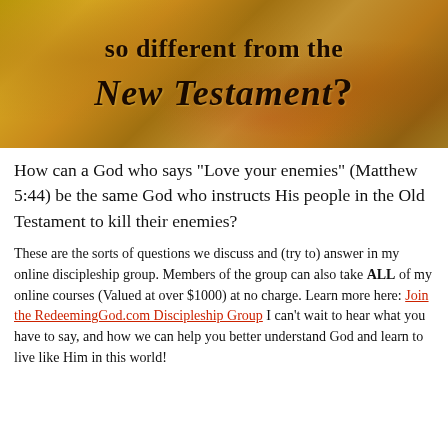[Figure (illustration): Decorative image with aged/textured golden-brown background with the text 'so different from the New Testament?' displayed in bold serif and italic fonts over the texture.]
How can a God who says "Love your enemies" (Matthew 5:44) be the same God who instructs His people in the Old Testament to kill their enemies?
These are the sorts of questions we discuss and (try to) answer in my online discipleship group. Members of the group can also take ALL of my online courses (Valued at over $1000) at no charge. Learn more here: Join the RedeemingGod.com Discipleship Group I can't wait to hear what you have to say, and how we can help you better understand God and learn to live like Him in this world!